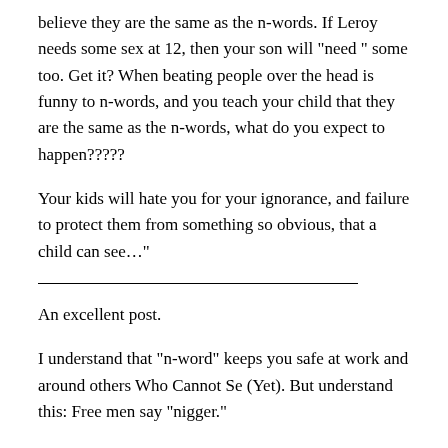believe they are the same as the n-words. If Leroy needs some sex at 12, then your son will "need " some too. Get it? When beating people over the head is funny to n-words, and you teach your child that they are the same as the n-words, what do you expect to happen?????
Your kids will hate you for your ignorance, and failure to protect them from something so obvious, that a child can see…"
An excellent post.
I understand that "n-word" keeps you safe at work and around others Who Cannot Se (Yet). But understand this: Free men say "nigger."
From Harold Covington's book, A Mighty Fortress, a scene about negotiating the peace after a five year civil war in the Pacific Northwest:
(From General Frank Barrow): "'… In the novel 1984, Winston